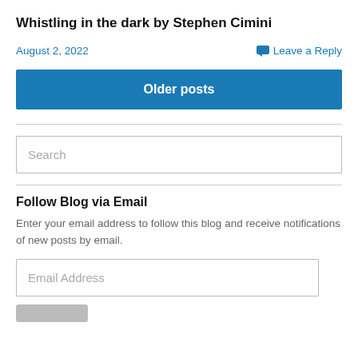Whistling in the dark by Stephen Cimini
August 2, 2022
Leave a Reply
Older posts
Search
Follow Blog via Email
Enter your email address to follow this blog and receive notifications of new posts by email.
Email Address